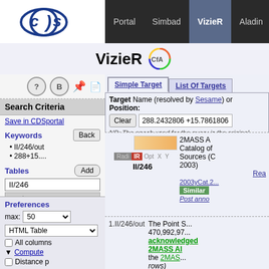VizieR - Portal Simbad VizieR Aladin X-Match Other
VizieR
Search Criteria
Save in CDSportal
Keywords
II/246/out
288+15....
Tables
II/246
..out
Preferences
max: 50
HTML Table
All columns
Compute
Distance p
Simple Target | List Of Targets
Target Name (resolved by Sesame) or Position:
Clear  288.2432806 +15.7861806
NB: The epoch used for the query is the original
[Figure (screenshot): 2MASS catalog entry panel showing color swatch, IR badge, catalog identifier II/246, catalog title '2MASS A... Catalog of... Sources (C... 2003)', with Read, bibtex, Similar, Post anno links]
1.II/246/out   The Point S... 470,992,97... acknowledged... 2MASS Al... the 2MAS... rows)